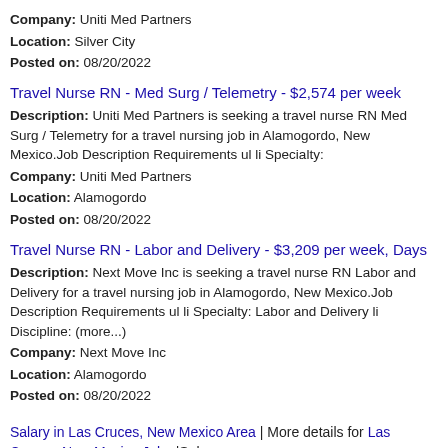Company: Uniti Med Partners
Location: Silver City
Posted on: 08/20/2022
Travel Nurse RN - Med Surg / Telemetry - $2,574 per week
Description: Uniti Med Partners is seeking a travel nurse RN Med Surg / Telemetry for a travel nursing job in Alamogordo, New Mexico.Job Description Requirements ul li Specialty:
Company: Uniti Med Partners
Location: Alamogordo
Posted on: 08/20/2022
Travel Nurse RN - Labor and Delivery - $3,209 per week, Days
Description: Next Move Inc is seeking a travel nurse RN Labor and Delivery for a travel nursing job in Alamogordo, New Mexico.Job Description Requirements ul li Specialty: Labor and Delivery li Discipline: (more...)
Company: Next Move Inc
Location: Alamogordo
Posted on: 08/20/2022
Salary in Las Cruces, New Mexico Area | More details for Las Cruces, New Mexico Jobs |Salary